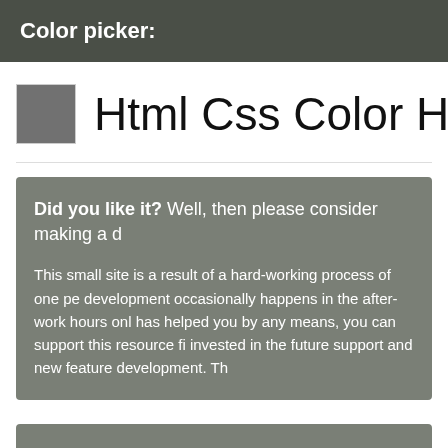Color picker:
Html Css Color HEX #71
Did you like it? Well, then please consider making a d

This small site is a result of a hard-working process of one pe... development occasionally happens in the after-work hours onl... has helped you by any means, you can support this resource fi... invested in the future support and new feature development. Th...
[Figure (other): Gray colored box at the bottom of the page]